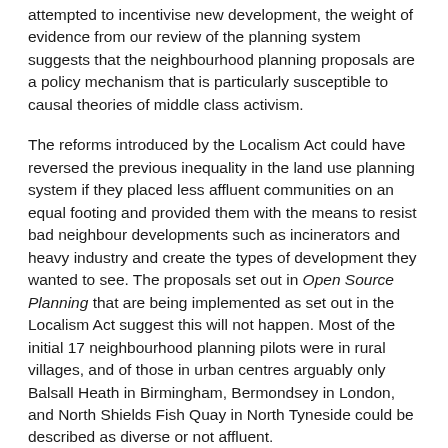attempted to incentivise new development, the weight of evidence from our review of the planning system suggests that the neighbourhood planning proposals are a policy mechanism that is particularly susceptible to causal theories of middle class activism.
The reforms introduced by the Localism Act could have reversed the previous inequality in the land use planning system if they placed less affluent communities on an equal footing and provided them with the means to resist bad neighbour developments such as incinerators and heavy industry and create the types of development they wanted to see. The proposals set out in Open Source Planning that are being implemented as set out in the Localism Act suggest this will not happen. Most of the initial 17 neighbourhood planning pilots were in rural villages, and of those in urban centres arguably only Balsall Heath in Birmingham, Bermondsey in London, and North Shields Fish Quay in North Tyneside could be described as diverse or not affluent.
The implementation of the reforms has actually produced barriers that are likely to support, rather than challenge, the existing hierarchy that the middle class in the planning...